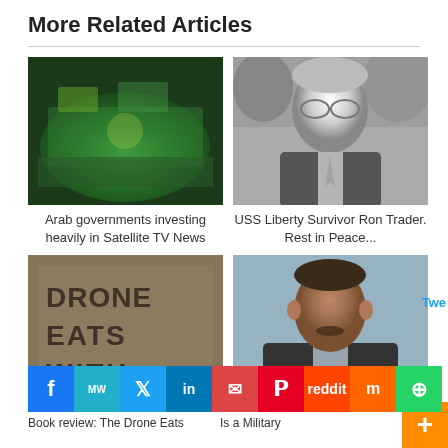More Related Articles
[Figure (photo): Blurry photo of a TV news studio with green lighting]
Arab governments investing heavily in Satellite TV News
[Figure (photo): Black and white portrait photo of an elderly man with glasses in a suit]
USS Liberty Survivor Ron Trader. Rest in Peace...
[Figure (photo): Graffiti on a wall reading DRONE EATS WITH]
[Figure (photo): Color portrait photo of a middle-aged man in a dark suit]
Twe
Book review: The Drone Eats
Is a Military